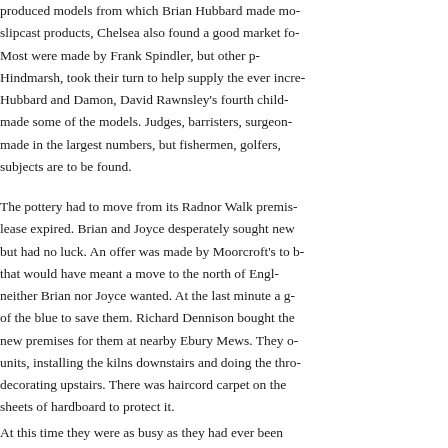produced models from which Brian Hubbard made mo- slipcast products, Chelsea also found a good market fo- Most were made by Frank Spindler, but other p- Hindmarsh, took their turn to help supply the ever incre- Hubbard and Damon, David Rawnsley's fourth child- made some of the models. Judges, barristers, surgeon- made in the largest numbers, but fishermen, golfers, subjects are to be found.
The pottery had to move from its Radnor Walk premis- lease expired. Brian and Joyce desperately sought new but had no luck. An offer was made by Moorcroft's to b- that would have meant a move to the north of Engl- neither Brian nor Joyce wanted. At the last minute a g- of the blue to save them. Richard Dennison bought the new premises for them at nearby Ebury Mews. They o- units, installing the kilns downstairs and doing the thro- decorating upstairs. There was haircord carpet on the sheets of hardboard to protect it.
At this time they were as busy as they had ever been